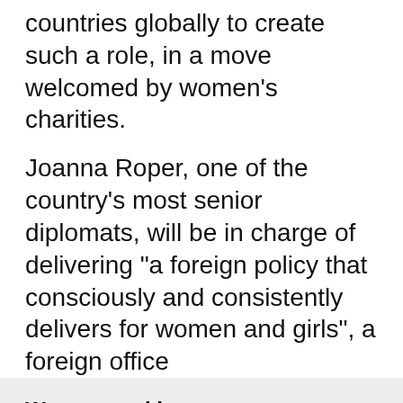countries globally to create such a role, in a move welcomed by women's charities.
Joanna Roper, one of the country's most senior diplomats, will be in charge of delivering "a foreign policy that consciously and consistently delivers for women and girls", a foreign office
We use cookies
We use cookies and other tracking technologies to improve your browsing experience on our website, to show you personalized content and targeted ads, to analyze our website traffic, and to understand where our visitors are coming from.